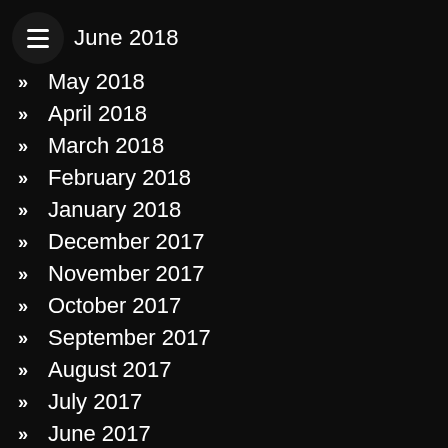June 2018
May 2018
April 2018
March 2018
February 2018
January 2018
December 2017
November 2017
October 2017
September 2017
August 2017
July 2017
June 2017
May 2017
Categories